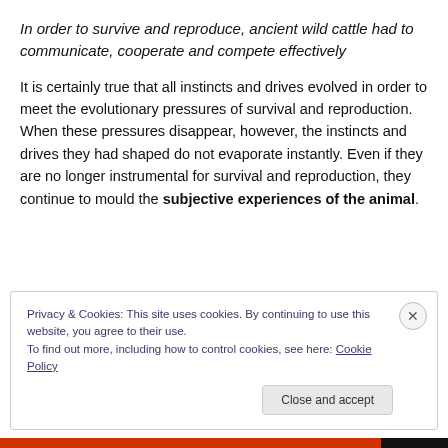In order to survive and reproduce, ancient wild cattle had to communicate, cooperate and compete effectively
It is certainly true that all instincts and drives evolved in order to meet the evolutionary pressures of survival and reproduction. When these pressures disappear, however, the instincts and drives they had shaped do not evaporate instantly. Even if they are no longer instrumental for survival and reproduction, they continue to mould the subjective experiences of the animal.
Privacy & Cookies: This site uses cookies. By continuing to use this website, you agree to their use. To find out more, including how to control cookies, see here: Cookie Policy
Close and accept